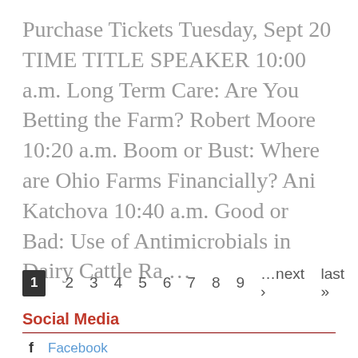Purchase Tickets Tuesday, Sept 20 TIME TITLE SPEAKER 10:00 a.m. Long Term Care: Are You Betting the Farm? Robert Moore 10:20 a.m. Boom or Bust: Where are Ohio Farms Financially? Ani Katchova 10:40 a.m. Good or Bad: Use of Antimicrobials in Dairy Cattle Ra ...
1 2 3 4 5 6 7 8 9 …next › last »
Social Media
Facebook
Twitter